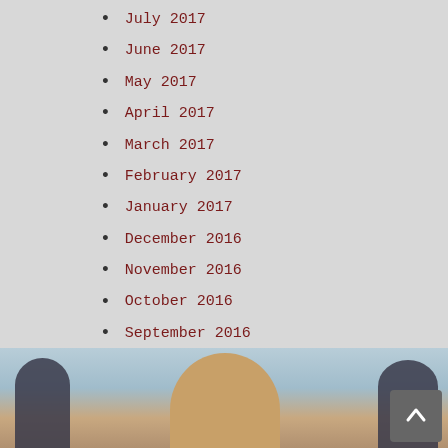July 2017
June 2017
May 2017
April 2017
March 2017
February 2017
January 2017
December 2016
November 2016
October 2016
September 2016
August 2016
July 2016
June 2016
May 2016
[Figure (photo): A person in the center with two darker silhouetted figures on either side, against a light blue/grey background reflecting in water.]